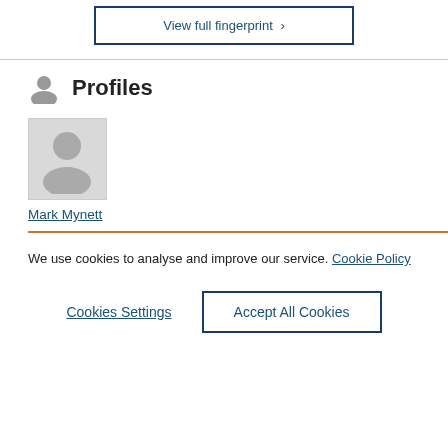View full fingerprint >
Profiles
[Figure (photo): Profile photo placeholder for Mark Mynett — grey silhouette avatar in a light grey box]
Mark Mynett
We use cookies to analyse and improve our service. Cookie Policy
Cookies Settings
Accept All Cookies